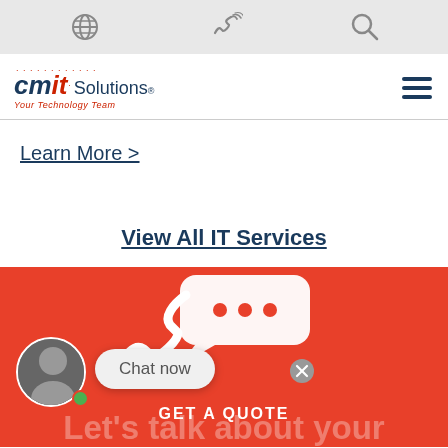Navigation bar with globe icon, phone icon, and search icon
[Figure (logo): CMIT Solutions logo — 'CMIT' in dark navy italic bold with red 'IT', followed by 'Solutions®' in navy, tagline 'Your Technology Team' in red italic, with decorative red dots arc above]
Learn More >
View All IT Services
[Figure (illustration): Red background CTA section with white phone handset icon and white speech bubble with three dots (chat icon), overlaid with a 'Chat now' chat widget showing a person avatar with green online dot and a close button. Text reads 'GET A QUOTE' and partial text 'Let's talk about your']